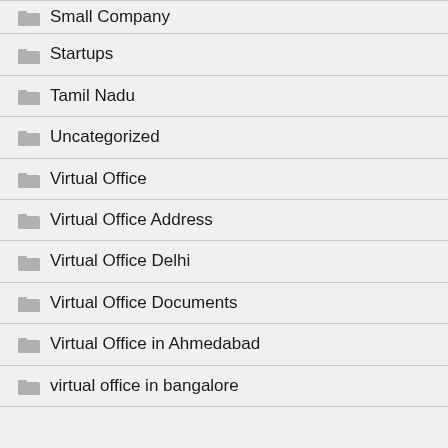Small Company
Startups
Tamil Nadu
Uncategorized
Virtual Office
Virtual Office Address
Virtual Office Delhi
Virtual Office Documents
Virtual Office in Ahmedabad
virtual office in bangalore